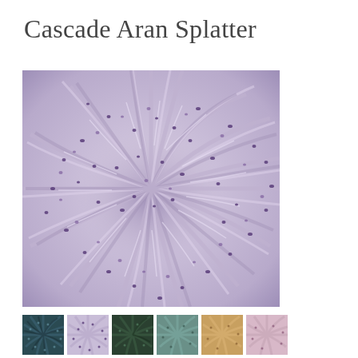Cascade Aran Splatter
[Figure (photo): Close-up of a skein of Cascade Aran Splatter yarn in lavender/light purple with dark purple speckles, showing twisted yarn strands arranged in a circular skein pattern.]
[Figure (photo): Row of six small thumbnail images showing different colorways of Cascade Aran Splatter yarn: dark teal/navy, lavender/purple, dark green, teal/sage, golden/tan, and pink/lavender.]